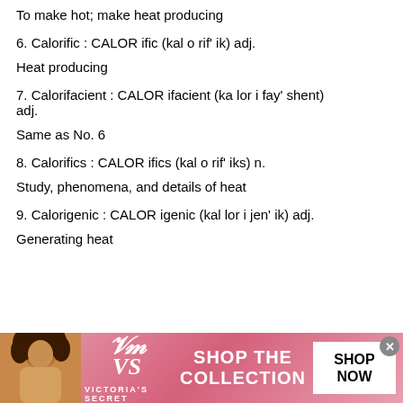To make hot; make heat producing
6. Calorific : CALOR ific (kal o rif' ik) adj.
Heat producing
7. Calorifacient : CALOR ifacient (ka lor i fay' shent) adj.
Same as No. 6
8. Calorifics : CALOR ifics (kal o rif' iks) n.
Study, phenomena, and details of heat
9. Calorigenic : CALOR igenic (kal lor i jen' ik) adj.
Generating heat
[Figure (photo): Victoria's Secret advertisement banner with model, VS logo, 'SHOP THE COLLECTION' text, and 'SHOP NOW' button]